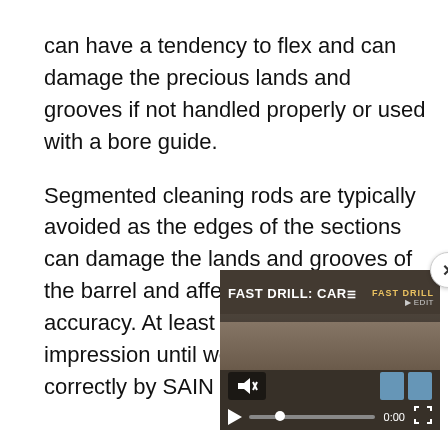can have a tendency to flex and can damage the precious lands and grooves if not handled properly or used with a bore guide.

Segmented cleaning rods are typically avoided as the edges of the sections can damage the lands and grooves of the barrel and affect long range accuracy. At least that was always our impression until we saw it done correctly by SAIN Defense.
[Figure (screenshot): Embedded video player thumbnail showing 'FAST DRILL: CAR' with controls including mute button, play button, progress bar showing 0:00, fullscreen icon, and target icons. Close button (x) in top-right corner.]